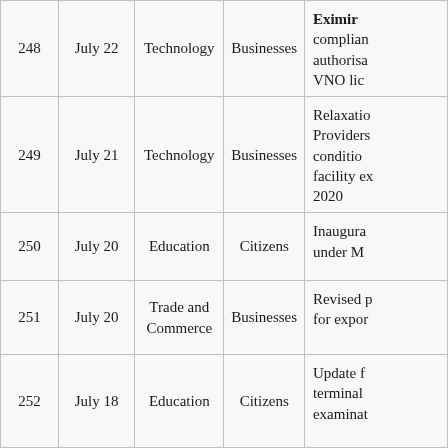|  |  |  |  |  |
| --- | --- | --- | --- | --- |
| 248 | July 22 | Technology | Businesses | complian authorisa VNO lic |
| 249 | July 21 | Technology | Businesses | Relaxatio Providers conditio facility ex 2020 |
| 250 | July 20 | Education | Citizens | Inaugura under M |
| 251 | July 20 | Trade and Commerce | Businesses | Revised p for expor |
| 252 | July 18 | Education | Citizens | Update f terminal examinat |